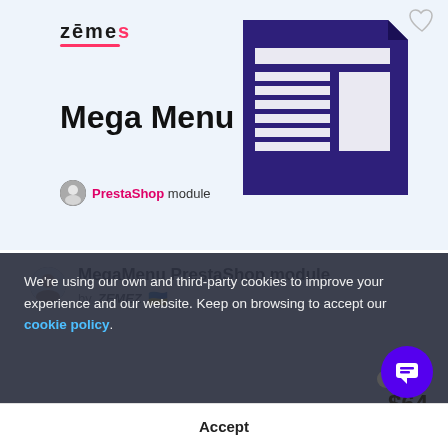[Figure (logo): Zemes brand logo with pink underline]
[Figure (illustration): Dark navy product icon showing a webpage layout/mega menu grid on purple background]
Mega Menu
PrestaShop module
MegaMenu PrestaShop module
by ZEMEZ 🇺🇦
We're using our own and third-party cookies to improve your experience and our website. Keep on browsing to accept our cookie policy.
Accept
$64
MegaMenu PrestaShop extension can streamline your feature-rich menu. Besides product categories and